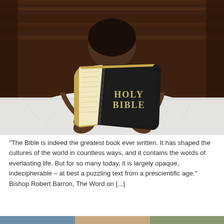[Figure (photo): A child reading a Holy Bible while lying on a bed with white sheets, with a wooden headboard in the background. Only the child's hands and top of head are visible above the open book.]
"The Bible is indeed the greatest book ever written. It has shaped the cultures of the world in countless ways, and it contains the words of everlasting life. But for so many today, it is largely opaque, indecipherable – at best a puzzling text from a prescientific age." Bishop Robert Barron, The Word on [...]
Ways to Approach Difficult Bible Passages
[Figure (photo): Bottom portion of another photo, partially visible at the bottom of the page.]